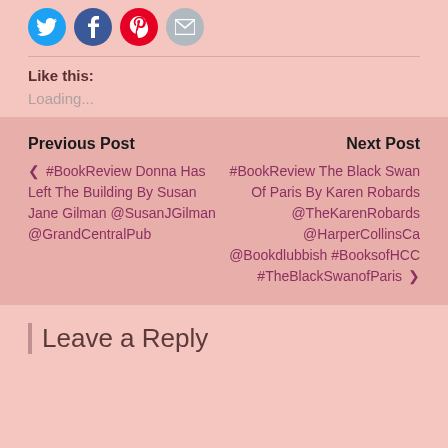[Figure (other): Social sharing icons: Twitter (blue circle), Facebook (blue circle), Pinterest (red circle), Email (grey circle)]
Like this:
Loading...
Previous Post
< #BookReview Donna Has Left The Building By Susan Jane Gilman @SusanJGilman @GrandCentralPub
Next Post
#BookReview The Black Swan Of Paris By Karen Robards @TheKarenRobards @HarperCollinsCa @Bookdlubbish #BooksofHCC #TheBlackSwanofParis >
Leave a Reply